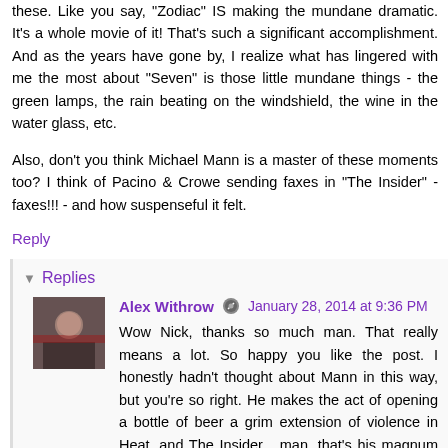these. Like you say, "Zodiac" IS making the mundane dramatic. It's a whole movie of it! That's such a significant accomplishment. And as the years have gone by, I realize what has lingered with me the most about "Seven" is those little mundane things - the green lamps, the rain beating on the windshield, the wine in the water glass, etc.
Also, don't you think Michael Mann is a master of these moments too? I think of Pacino & Crowe sending faxes in "The Insider" - faxes!!! - and how suspenseful it felt.
Reply
Replies
Alex Withrow  January 28, 2014 at 9:36 PM
Wow Nick, thanks so much man. That really means a lot. So happy you like the post. I honestly hadn't thought about Mann in this way, but you're so right. He makes the act of opening a bottle of beer a grim extension of violence in Heat, and The Insider... man, that's his magnum opus of masterful mundane. I rewatched that